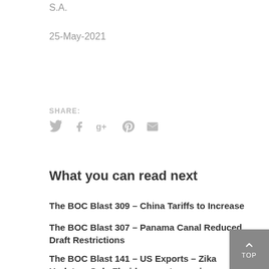S.A.
25-May-2021
SHARE:
[Figure (infographic): Social share icons: Twitter bird, Facebook f, Google+ g+, Pinterest p, Email envelope — all in light gray]
What you can read next
The BOC Blast 309 – China Tariffs to Increase
The BOC Blast 307 – Panama Canal Reduced Draft Restrictions
The BOC Blast 141 – US Exports – Zika Update – ​Only Florida exports require disinfection